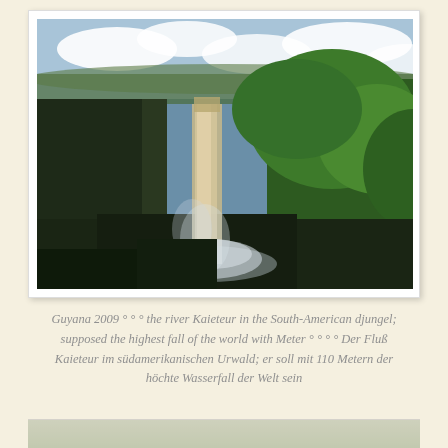[Figure (photo): Photograph of the Kaieteur waterfall in Guyana, surrounded by dense jungle rainforest. A tall single-drop waterfall plunges into a gorge. Lush green trees fill the right foreground. The sky is partly cloudy with blue sky visible above the distant green plateau.]
Guyana 2009 ° ° ° the river Kaieteur in the South-American djungel; supposed the highest fall of the world with Meter ° ° ° ° Der Fluß Kaieteur im südamerikanischen Urwald; er soll mit 110 Metern der höchte Wasserfall der Welt sein